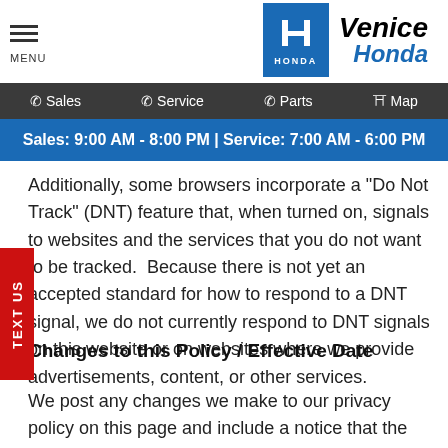MENU | Venice Honda | HONDA
Sales | Service | Parts | Map
Sales: 9:00 AM - 8:00 PM | Service: 7:00 AM - 6:00 PM
Additionally, some browsers incorporate a "Do Not Track" (DNT) feature that, when turned on, signals to websites and the services that you do not want to be tracked. Because there is not yet an accepted standard for how to respond to a DNT signal, we do not currently respond to DNT signals on this website or on websites where we provide advertisements, content, or other services.
Changes to this Policy / Effective Date
We post any changes we make to our privacy policy on this page and include a notice that the privacy policy has been